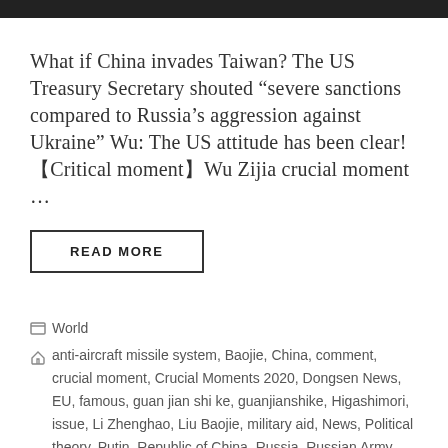What if China invades Taiwan? The US Treasury Secretary shouted “severe sanctions compared to Russia’s aggression against Ukraine” Wu: The US attitude has been clear! 【Critical moment】Wu Zijia crucial moment ...
READ MORE
World
anti-aircraft missile system, Baojie, China, comment, crucial moment, Crucial Moments 2020, Dongsen News, EU, famous, guan jian shi ke, guanjianshike, Higashimori, issue, Li Zhenghao, Liu Baojie, military aid, News, Political theory, Putin, Republic of China, Russia, Russian Army, Russian-Ukrainian War, satellite, taiwan, tank, The essential, U.S, udon, Ukraine,